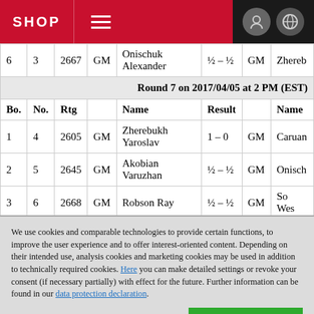SHOP
| Bo. | No. | Rtg |  | Name | Result |  | Name |
| --- | --- | --- | --- | --- | --- | --- | --- |
| 6 | 3 | 2667 | GM | Onischuk Alexander | ½ – ½ | GM | Zhereb |
| Round 7 on 2017/04/05 at 2 PM (EST) |  |  |  |  |  |  |  |
| Bo. | No. | Rtg |  | Name | Result |  | Name |
| 1 | 4 | 2605 | GM | Zherebukh Yaroslav | 1 – 0 | GM | Caruan |
| 2 | 5 | 2645 | GM | Akobian Varuzhan | ½ – ½ | GM | Onisch |
| 3 | 6 | 2668 | GM | Robson Ray | ½ – ½ | GM | So Wes |
| 4 | 7 | 2793 | GM | Nakamura Hikaru | ½ – ½ | GM | Shankl |
We use cookies and comparable technologies to provide certain functions, to improve the user experience and to offer interest-oriented content. Depending on their intended use, analysis cookies and marketing cookies may be used in addition to technically required cookies. Here you can make detailed settings or revoke your consent (if necessary partially) with effect for the future. Further information can be found in our data protection declaration.